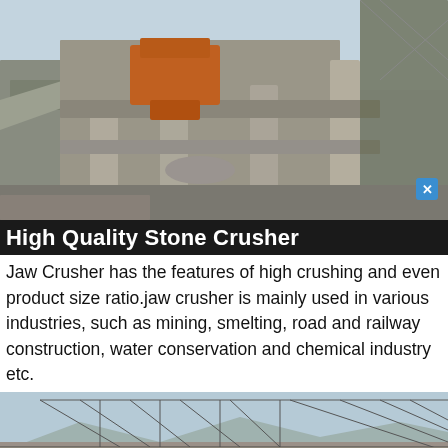[Figure (photo): Industrial stone crusher facility with concrete columns and heavy machinery, orange-colored crusher visible on upper level, metal scaffolding and structural framework.]
High Quality Stone Crusher
Jaw Crusher has the features of high crushing and even product size ratio.jaw crusher is mainly used in various industries, such as mining, smelting, road and railway construction, water conservation and chemical industry etc.
[Figure (photo): Metal framework / steel truss roof structure under construction at an industrial facility, with arid landscape visible in background.]